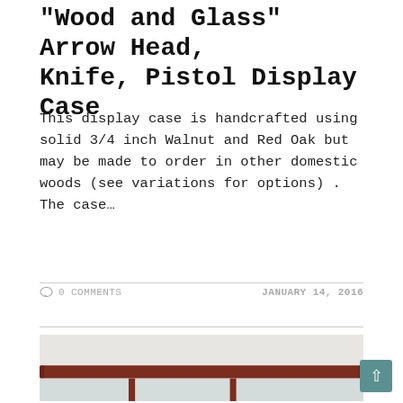Wood and Glass  Arrow Head, Knife, Pistol Display Case
This display case is handcrafted using solid 3/4 inch Walnut and Red Oak but may be made to order in other domestic woods (see variations for options) . The case…
0 COMMENTS    JANUARY 14, 2016
[Figure (photo): A wooden and glass display case with dark reddish-brown walnut frame, viewed from above showing the top rail and glass panels with vertical dividers]